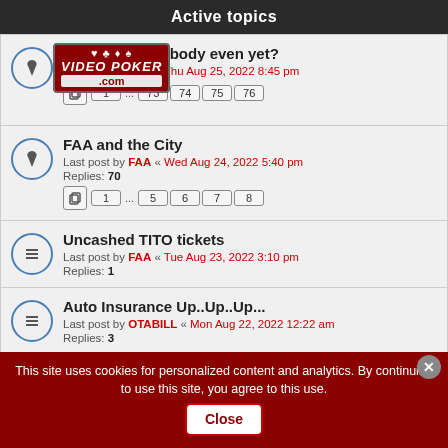Active topics
MARKETS,Anybody even yet?
Last post by FAA « Thu Aug 25, 2022 8:45 pm
Pages: 1 ... 73 74 75 76
FAA and the City
Last post by FAA « Wed Aug 24, 2022 5:40 pm
Replies: 70
Pages: 1 ... 5 6 7 8
Uncashed TITO tickets
Last post by FAA « Tue Aug 23, 2022 3:10 pm
Replies: 1
Auto Insurance Up..Up..Up...
Last post by OTABILL « Mon Aug 22, 2022 12:22 am
Replies: 3
Raise a Toast to Paul Pelosi
Last post by FAA « Sun Aug 07, 2022 3:44 pm
Replies: 17
This site uses cookies for personalized content and analytics. By continuing to use this site, you agree to this use. Close